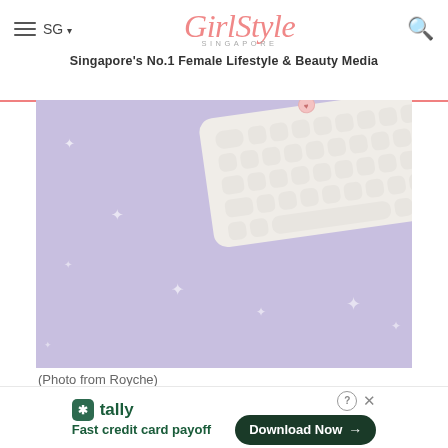GirlStyle SINGAPORE — Singapore's No.1 Female Lifestyle & Beauty Media
[Figure (photo): A white Royche keyboard with round keys on a soft purple/lavender background with small white star/sparkle decorations scattered across the surface]
(Photo from Royche)
The Snoopy x Royche computer accessories are originally from Korea, and are currently retailing
[Figure (other): Tally app advertisement banner: 'Fast credit card payoff' with Download Now button]